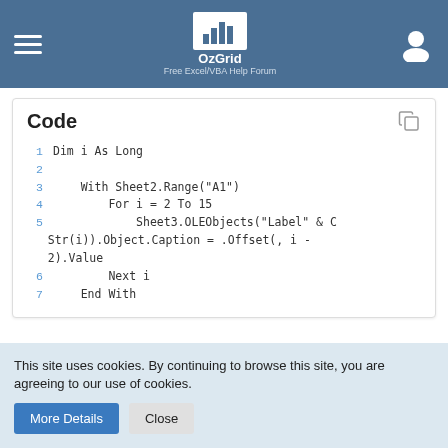OzGrid - Free Excel/VBA Help Forum
[Figure (screenshot): Code block showing VBA code with line numbers 1-7. Line 1: Dim i As Long. Line 2: (empty). Line 3: With Sheet2.Range("A1"). Line 4: For i = 2 To 15. Line 5: Sheet3.OLEObjects("Label" & CStr(i)).Object.Caption = .Offset(, i - 2).Value. Line 6: Next i. Line 7: End With.]
This site uses cookies. By continuing to browse this site, you are agreeing to our use of cookies.